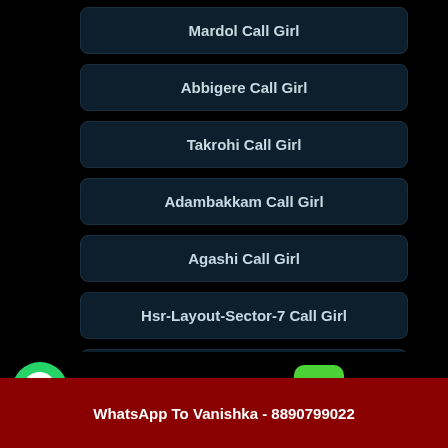Mardol Call Girl
Abbigere Call Girl
Takrohi Call Girl
Adambakkam Call Girl
Agashi Call Girl
Hsr-Layout-Sector-7 Call Girl
Arekere Call Girl
Whatsapp click to chat
Click here.
Call Vanishka Now - 8890799022
WhatsApp To Vanishka - 8890799022